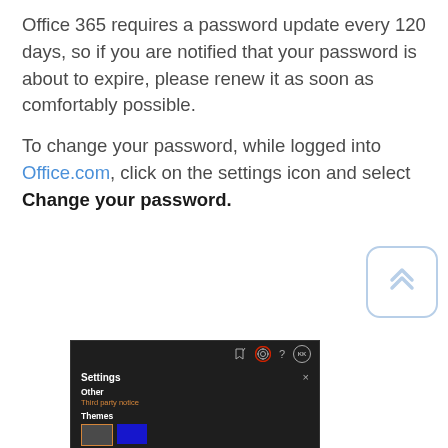Office 365 requires a password update every 120 days, so if you are notified that your password is about to expire, please renew it as soon as comfortably possible.
To change your password, while logged into Office.com, click on the settings icon and select Change your password.
[Figure (screenshot): Screenshot of Office.com Settings panel showing a dark-themed UI with a gear icon highlighted in red circle in the top bar, the Settings panel open with 'Other' section containing 'Third party notice' link, and 'Themes' section showing two theme swatches (dark and blue).]